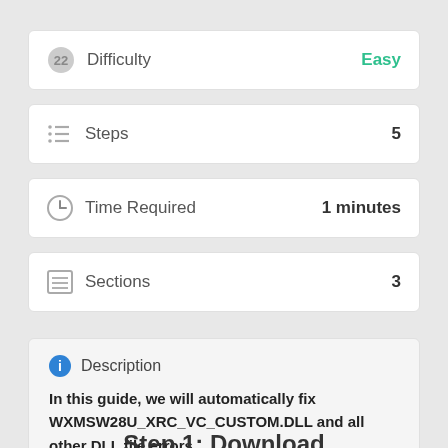Difficulty   Easy
Steps   5
Time Required   1 minutes
Sections   3
Description
In this guide, we will automatically fix WXMSW28U_XRC_VC_CUSTOM.DLL and all other DLL file errors.
Step 1: Download